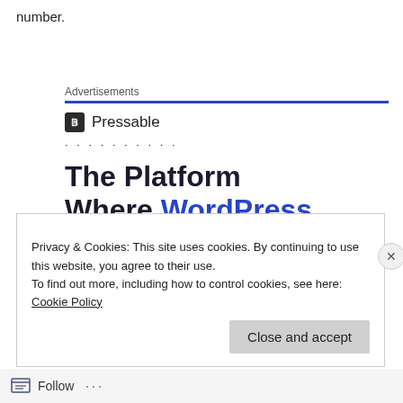number.
Advertisements
[Figure (logo): Pressable logo with icon and dotted line decoration, followed by ad headline: The Platform Where WordPress Works Best]
Privacy & Cookies: This site uses cookies. By continuing to use this website, you agree to their use.
To find out more, including how to control cookies, see here: Cookie Policy
Close and accept
Follow ...